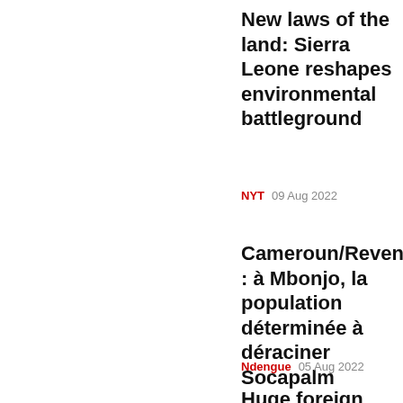New laws of the land: Sierra Leone reshapes environmental battleground
NYT   09 Aug 2022
Cameroun/Revendications : à Mbonjo, la population déterminée à déraciner Socapalm
Ndengue   05 Aug 2022
Huge foreign farmland investor fee